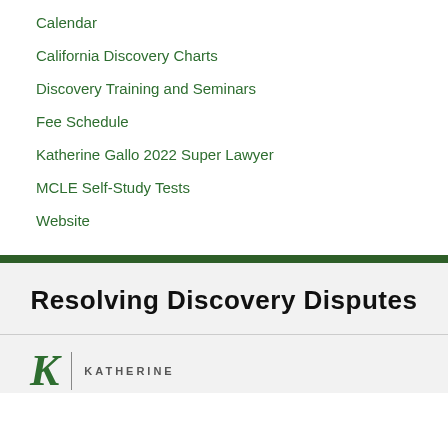Calendar
California Discovery Charts
Discovery Training and Seminars
Fee Schedule
Katherine Gallo 2022 Super Lawyer
MCLE Self-Study Tests
Website
Resolving Discovery Disputes
[Figure (logo): Katherine Gallo logo with stylized K and KATHERINE text]